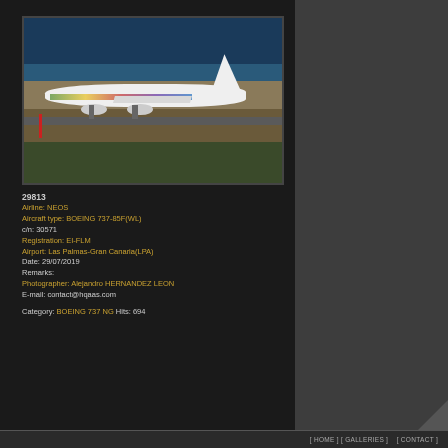[Figure (photo): A white Boeing 737 aircraft with colorful livery on the fuselage landing or taxiing at Las Palmas-Gran Canaria airport, with ocean visible in the background and arid terrain in the foreground.]
29813
Airline: NEOS
Aircraft type: BOEING 737-85F(WL)
c/n: 30571
Registration: EI-FLM
Airport: Las Palmas-Gran Canaria(LPA)
Date: 29/07/2019
Remarks:
Photographer: Alejandro HERNANDEZ LEON
E-mail: contact@hqaas.com

Category: BOEING 737 NG  Hits: 694
[ HOME ] [ GALLERIES ]    [ CONTACT ]